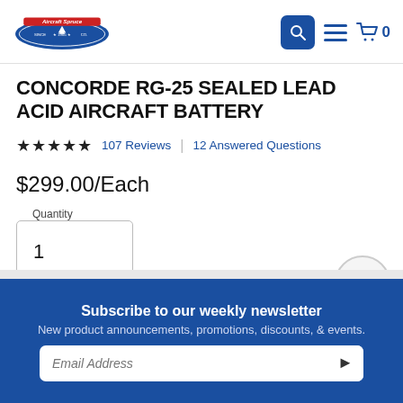Aircraft Spruce & Specialty Co.
CONCORDE RG-25 SEALED LEAD ACID AIRCRAFT BATTERY
★★★★★ 107 Reviews | 12 Answered Questions
$299.00/Each
Quantity 1
Subscribe to our weekly newsletter
New product announcements, promotions, discounts, & events.
Email Address